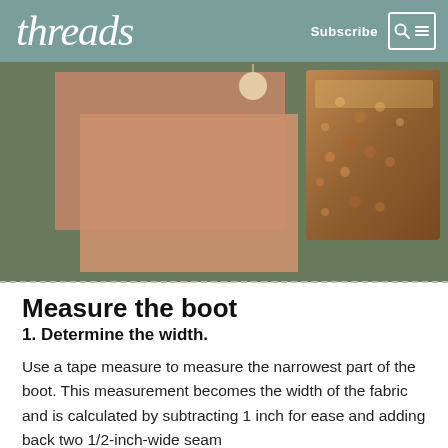threads  Subscribe
[Figure (photo): Overhead photo showing terracotta/rust colored fabric swatches laid flat on an olive-green surface, with a bag of seeds or dried material visible in the upper right corner.]
Measure the boot
1. Determine the width.
Use a tape measure to measure the narrowest part of the boot. This measurement becomes the width of the fabric and is calculated by subtracting 1 inch for ease and adding back two 1/2-inch-wide seam allowances. This becomes with the original